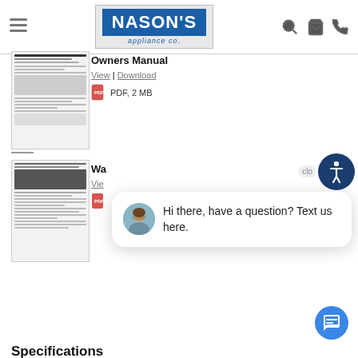[Figure (screenshot): Nason's Appliance Co. website header with hamburger menu, logo, search, cart, and phone icons]
—
Owners Manual
View | Download
PDF, 2 MB
[Figure (photo): Thumbnail of owners manual document]
—
Wa
Vie
[Figure (photo): Thumbnail of warranty document]
Hi there, have a question? Text us here.
clo
Specifications